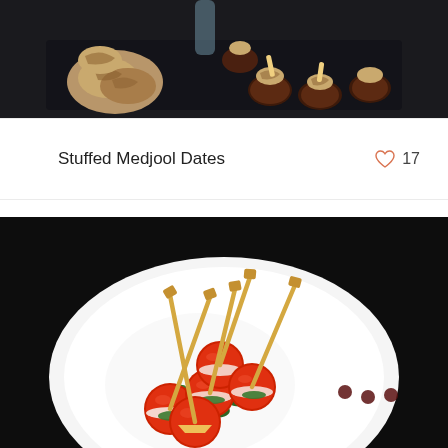[Figure (photo): Stuffed Medjool dates with walnuts on a dark tray, dark background]
Stuffed Medjool Dates
♡ 17
[Figure (photo): Cherry tomato caprese skewers with mozzarella and basil on a white plate, dark background]